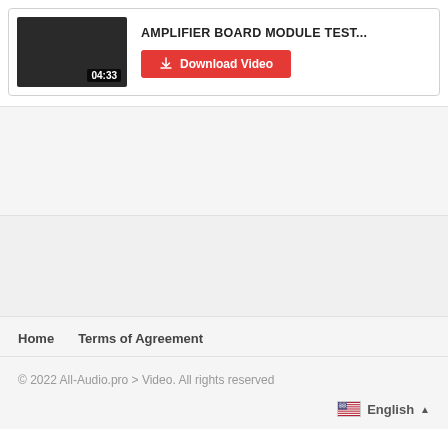[Figure (screenshot): Video thumbnail showing dark background with duration 04:33]
AMPLIFIER BOARD MODULE TEST...
Download Video
Home    Terms of Agreement
© 2022 All-Audio.pro > Video. All rights reserved
English